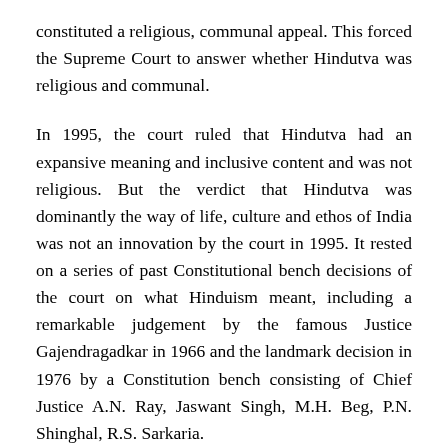constituted a religious, communal appeal. This forced the Supreme Court to answer whether Hindutva was religious and communal.
In 1995, the court ruled that Hindutva had an expansive meaning and inclusive content and was not religious. But the verdict that Hindutva was dominantly the way of life, culture and ethos of India was not an innovation by the court in 1995. It rested on a series of past Constitutional bench decisions of the court on what Hinduism meant, including a remarkable judgement by the famous Justice Gajendragadkar in 1966 and the landmark decision in 1976 by a Constitution bench consisting of Chief Justice A.N. Ray, Jaswant Singh, M.H. Beg, P.N. Shinghal, R.S. Sarkaria.
The 1976 case had called for a judicial probe into the